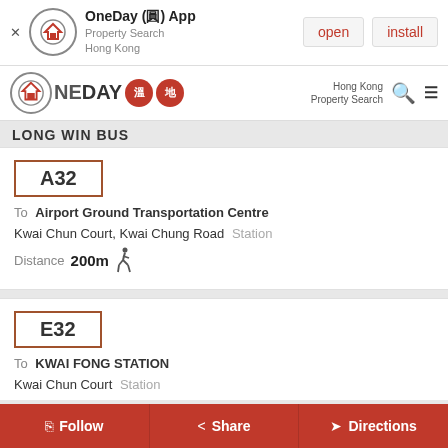[Figure (screenshot): App install banner for OneDay (圓) App - Property Search Hong Kong with open and install buttons]
[Figure (logo): OneDay 溫地 logo with search and menu icons, Hong Kong Property Search]
LONG WIN BUS
A32
To Airport Ground Transportation Centre
Kwai Chun Court, Kwai Chung Road Station
Distance 200m
E32
To KWAI FONG STATION
Kwai Chun Court Station
Follow  Share  Directions